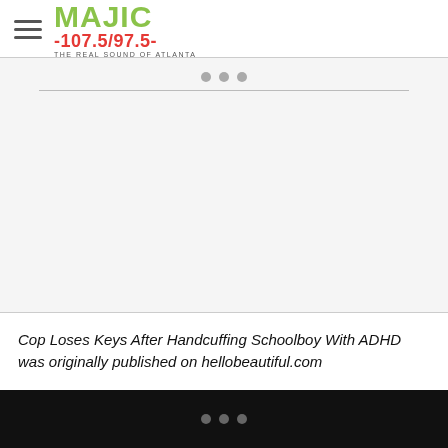MAJIC 107.5/97.5 THE REAL SOUND OF ATLANTA
[Figure (other): Three grey dots and a horizontal divider line above an image placeholder area on a light grey background]
Cop Loses Keys After Handcuffing Schoolboy With ADHD was originally published on hellobeautiful.com
BRUTALITY , CADEN MCCADDEN , CHRYSTAL MCCADDEN , EXCESSIVE FORCE , POLICE FORCE